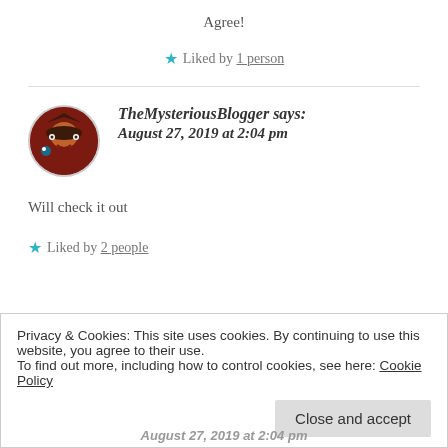Agree!
★ Liked by 1 person
TheMysteriousBlogger says:
August 27, 2019 at 2:04 pm
Will check it out
★ Liked by 2 people
Privacy & Cookies: This site uses cookies. By continuing to use this website, you agree to their use.
To find out more, including how to control cookies, see here: Cookie Policy
Close and accept
August 27, 2019 at 2:04 pm